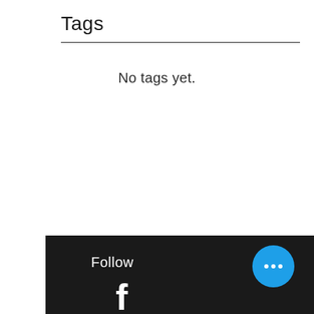Tags
No tags yet.
Follow
[Figure (other): Blue circular FAB button with three white dots (ellipsis/more options icon)]
[Figure (other): White Facebook 'f' logo icon in the footer]